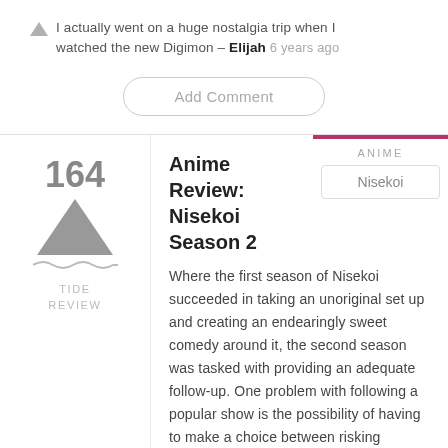I actually went on a huge nostalgia trip when I watched the new Digimon – Elijah 6 years ago
Add Comment
164
Anime Review: Nisekoi Season 2
ANIME
Nisekoi
TIDE REVIEW
Where the first season of Nisekoi succeeded in taking an unoriginal set up and creating an endearingly sweet comedy around it, the second season was tasked with providing an adequate follow-up. One problem with following a popular show is the possibility of having to make a choice between risking stagnation by continuing on the same line or switching things up a bit and risking alienation instead. Nisekoi season two takes a strange middle ground